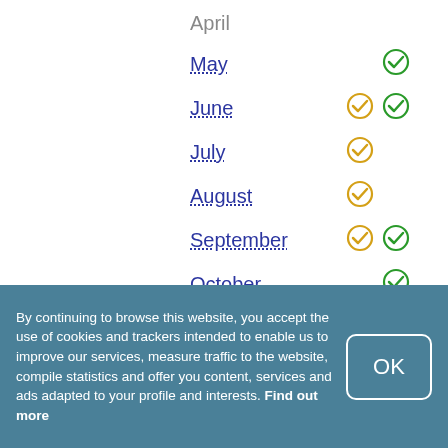| Month | Sea-season | Sightseeing |
| --- | --- | --- |
| April |  |  |
| May |  | ✓ |
| June | ✓ | ✓ |
| July | ✓ |  |
| August | ✓ |  |
| September | ✓ | ✓ |
| October |  | ✓ |
| November |  |  |
| December |  |  |
- sea-season
- sightseeing
By continuing to browse this website, you accept the use of cookies and trackers intended to enable us to improve our services, measure traffic to the website, compile statistics and offer you content, services and ads adapted to your profile and interests. Find out more